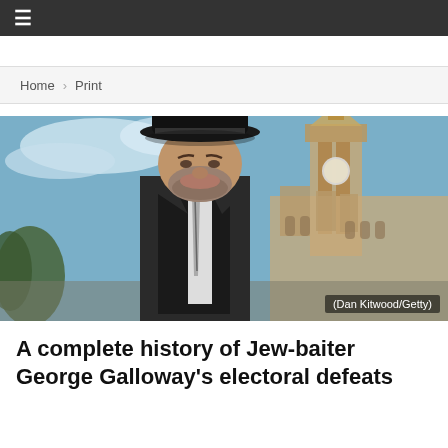≡
Home > Print
[Figure (photo): George Galloway wearing a black fedora hat and dark suit with tie, standing in front of Big Ben and the Houses of Parliament in London. Photo credit: Dan Kitwood/Getty]
(Dan Kitwood/Getty)
A complete history of Jew-baiter George Galloway's electoral defeats